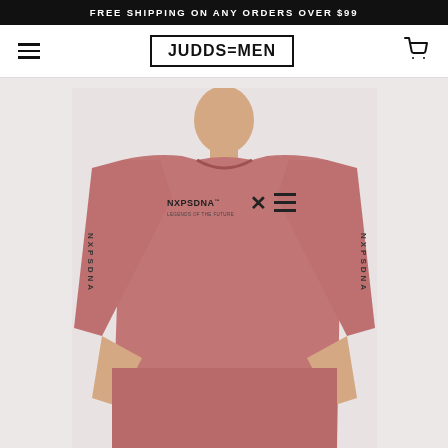FREE SHIPPING ON ANY ORDERS OVER $99
[Figure (logo): JUDDS=MEN brand logo in bold text inside a rectangular border]
[Figure (photo): Male model wearing a mauve/dusty pink long-sleeve crew neck sweatshirt with NXPSDNA branding on the chest and text printed along the sleeves]